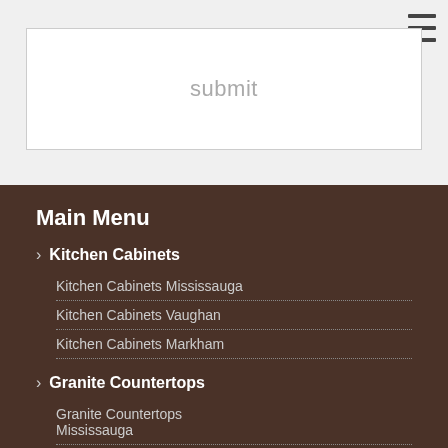submit
[Figure (screenshot): Hamburger menu icon with three horizontal lines]
Main Menu
> Kitchen Cabinets
Kitchen Cabinets Mississauga
Kitchen Cabinets Vaughan
Kitchen Cabinets Markham
> Granite Countertops
Granite Countertops Mississauga